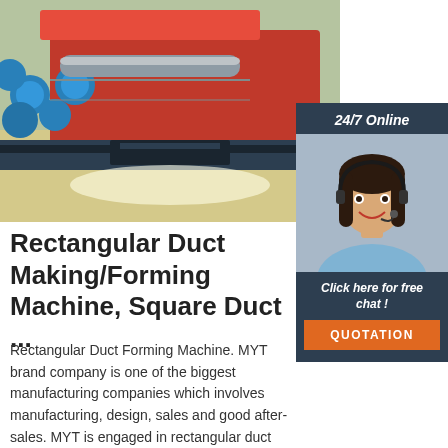[Figure (photo): Close-up photo of a red rectangular duct forming/making machine with blue rollers and metal pipe on a factory floor]
[Figure (photo): Customer service chat widget: dark navy panel with '24/7 Online' header, photo of smiling woman with headset, 'Click here for free chat!' text, and orange QUOTATION button]
Rectangular Duct Making/Forming Machine, Square Duct ...
Rectangular Duct Forming Machine. MYT brand company is one of the biggest manufacturing companies which involves manufacturing, design, sales and good after-sales. MYT is engaged in rectangular duct machinery over 15 years and located in Shanghai city, China. Welcome